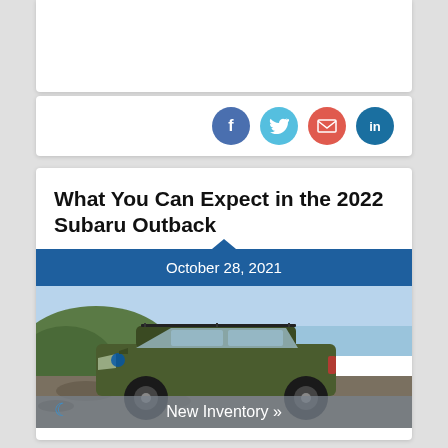[Figure (screenshot): Top white card section, partially visible at top of page]
[Figure (infographic): Social sharing icons: Facebook (blue), Twitter (light blue), Email (red/orange), LinkedIn (dark blue)]
What You Can Expect in the 2022 Subaru Outback
October 28, 2021
[Figure (photo): Dark olive/green 2022 Subaru Outback SUV parked on rocky terrain with coastal hills and ocean in the background]
New Inventory »